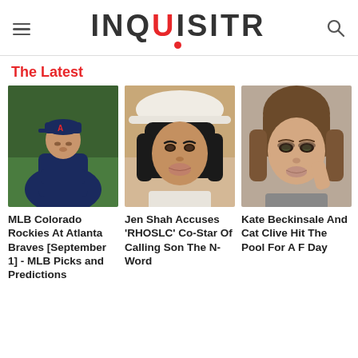INQUISITR
The Latest
[Figure (photo): Atlanta Braves baseball player on field]
MLB Colorado Rockies At Atlanta Braves [September 1] - MLB Picks and Predictions
[Figure (photo): Jen Shah selfie photo wearing a hat]
Jen Shah Accuses 'RHOSLC' Co-Star Of Calling Son The N-Word
[Figure (photo): Kate Beckinsale portrait photo]
Kate Beckinsale And Cat Clive Hit The Pool For A F Day